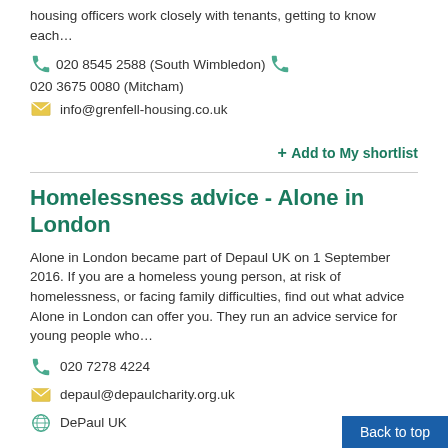housing officers work closely with tenants, getting to know each…
020 8545 2588 (South Wimbledon)   020 3675 0080 (Mitcham)
info@grenfell-housing.co.uk
+ Add to My shortlist
Homelessness advice - Alone in London
Alone in London became part of Depaul UK on 1 September 2016. If you are a homeless young person, at risk of homelessness, or facing family difficulties, find out what advice Alone in London can offer you. They run an advice service for young people who…
020 7278 4224
depaul@depaulcharity.org.uk
DePaul UK
+ Add to My shortlist
Back to top